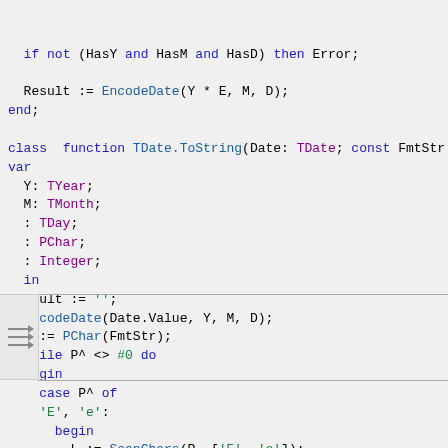Source code listing: TDate.ToString function implementation in Pascal